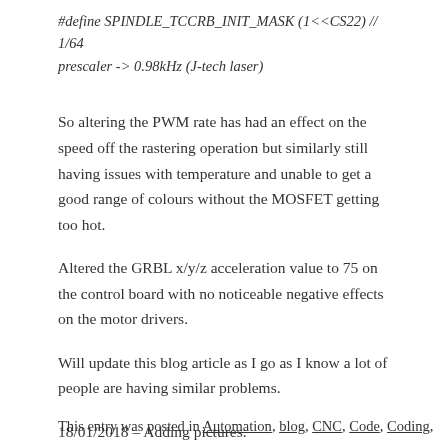#define SPINDLE_TCCRB_INIT_MASK (1<<CS22) // 1/64 prescaler -> 0.98kHz (J-tech laser)
So altering the PWM rate has had an effect on the speed off the rastering operation but similarly still having issues with temperature and unable to get a good range of colours without the MOSFET getting too hot.
Altered the GRBL x/y/z acceleration value to 75 on the control board with no noticeable negative effects on the motor drivers.
Will update this blog article as I go as I know a lot of people are having similar problems.
18/01/2018 – Adding pictures.
This entry was posted in Automation, blog, CNC, Code, Coding,